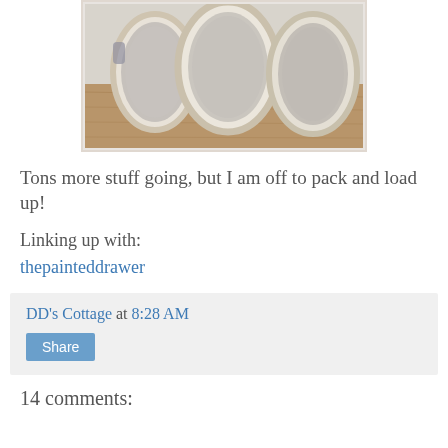[Figure (photo): Three ornate oval mirrors with decorative white/cream frames arranged on a wooden surface, photographed from above at an angle.]
Tons more stuff going, but I am off to pack and load up!
Linking up with:
thepainteddrawer
DD's Cottage at 8:28 AM
Share
14 comments: